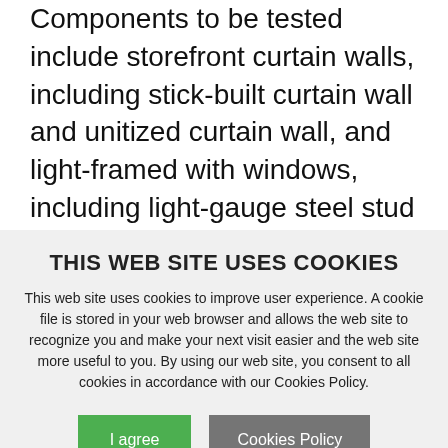Components to be tested include storefront curtain walls, including stick-built curtain wall and unitized curtain wall, and light-framed with windows, including light-gauge steel stud framing and wood stud framing.
The resulting test data, Pei explains, can quantify the performance of nonstructural
THIS WEB SITE USES COOKIES
This web site uses cookies to improve user experience. A cookie file is stored in your web browser and allows the web site to recognize you and make your next visit easier and the web site more useful to you. By using our web site, you consent to all cookies in accordance with our Cookies Policy.